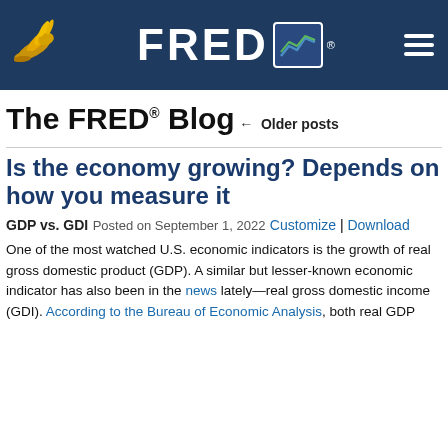FRED Blog header with Federal Reserve Bank of St. Louis logo and FRED logo
The FRED® Blog
← Older posts
Is the economy growing? Depends on how you measure it
GDP vs. GDI
Posted on September 1, 2022
Customize | Download
One of the most watched U.S. economic indicators is the growth of real gross domestic product (GDP). A similar but lesser-known economic indicator has also been in the news lately—real gross domestic income (GDI). According to the Bureau of Economic Analysis, both real GDP